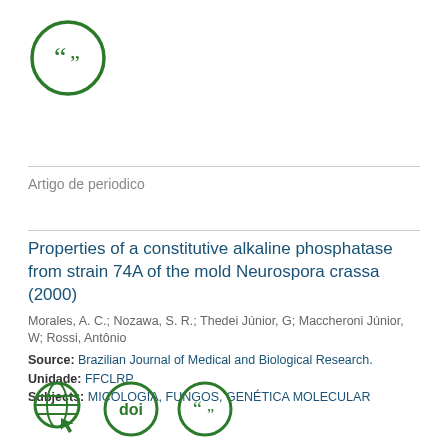[Figure (logo): Green circle with open/close quotation marks icon]
Artigo de periodico
Properties of a constitutive alkaline phosphatase from strain 74A of the mold Neurospora crassa (2000)
Morales, A. C.; Nozawa, S. R.; Thedei Júnior, G; Maccheroni Júnior, W; Rossi, Antônio
Source: Brazilian Journal of Medical and Biological Research.
Unidade: FFCLRP
Subjects: MICOLOGIA, FUNGOS, GENÉTICA MOLECULAR
[Figure (logo): Three green icons: globe with cursor, DOI circle badge, quotation marks circle]